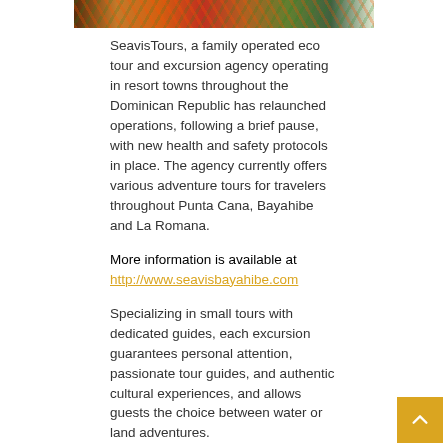[Figure (photo): Partial view of an underwater/nature photo showing coral reef or tropical vegetation with orange and green colors]
SeavisTours, a family operated eco tour and excursion agency operating in resort towns throughout the Dominican Republic has relaunched operations, following a brief pause, with new health and safety protocols in place. The agency currently offers various adventure tours for travelers throughout Punta Cana, Bayahibe and La Romana.
More information is available at http://www.seavisbayahibe.com
Specializing in small tours with dedicated guides, each excursion guarantees personal attention, passionate tour guides, and authentic cultural experiences, and allows guests the choice between water or land adventures.
In its 17th year of operation, this family-run operation is popular among tourists to the Dominic Republic,